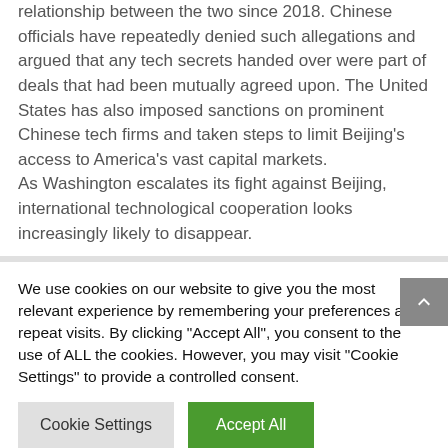relationship between the two since 2018. Chinese officials have repeatedly denied such allegations and argued that any tech secrets handed over were part of deals that had been mutually agreed upon. The United States has also imposed sanctions on prominent Chinese tech firms and taken steps to limit Beijing's access to America's vast capital markets.
As Washington escalates its fight against Beijing, international technological cooperation looks increasingly likely to disappear.
We use cookies on our website to give you the most relevant experience by remembering your preferences and repeat visits. By clicking "Accept All", you consent to the use of ALL the cookies. However, you may visit "Cookie Settings" to provide a controlled consent.